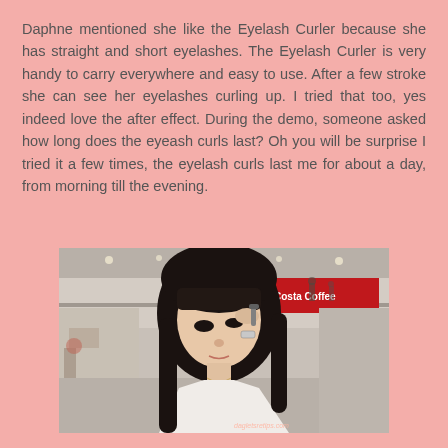Daphne mentioned she like the Eyelash Curler because she has straight and short eyelashes. The Eyelash Curler is very handy to carry everywhere and easy to use. After a few stroke she can see her eyelashes curling up. I tried that too, yes indeed love the after effect. During the demo, someone asked how long does the eyeash curls last? Oh you will be surprise I tried it a few times, the eyelash curls last me for about a day, from morning till the evening.
[Figure (photo): A young Asian woman using an eyelash curler near her eye, sitting in a shopping mall food court area. She has long dark hair and is wearing a white top. Background shows a multi-level mall interior with a Costa Coffee sign visible.]